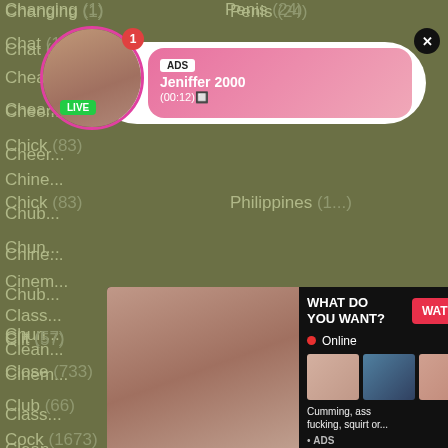Changing (1)
Penis (24)
Chat (1...)
Chea...
Cheer...
Chick (83)
Philippines (1...)
Chine...
Chub...
Chun...
Cinem...
Class...
Clean...
Clit (57)
Plumper (13)
Close (733)
Pool (18)
Club (66)
Pornstar (550)
Cock (1673)
Pregnant (74)
Coed (38)
Pretty (88)
Collar (3)
Princess (12)
College (135)
Private (50)
[Figure (screenshot): Ad popup notification showing LIVE user Jeniffer 2000 with timer (00:12)]
[Figure (screenshot): Ad popup asking WHAT DO YOU WANT? with WATCH button, Online indicator, thumbnails, text 'Cumming, ass fucking, squirt or...' and ADS label]